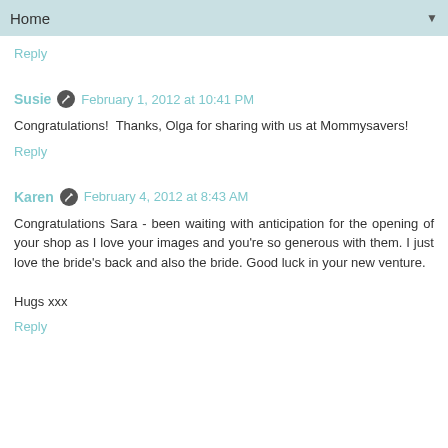Home ▼
Reply
Susie  February 1, 2012 at 10:41 PM
Congratulations! Thanks, Olga for sharing with us at Mommysavers!
Reply
Karen  February 4, 2012 at 8:43 AM
Congratulations Sara - been waiting with anticipation for the opening of your shop as I love your images and you're so generous with them. I just love the bride's back and also the bride. Good luck in your new venture.

Hugs xxx
Reply